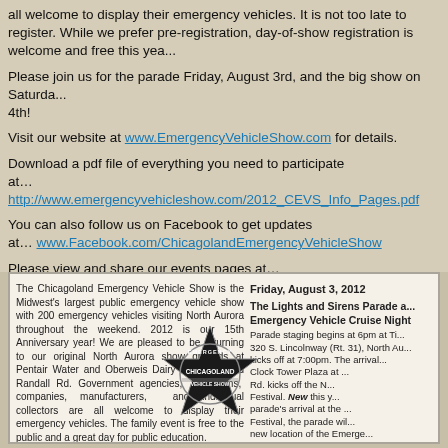all welcome to display their emergency vehicles. It is not too late to register. While we prefer pre-registration, day-of-show registration is welcome and free this year.
Please join us for the parade Friday, August 3rd, and the big show on Saturday, August 4th!
Visit our website at www.EmergencyVehicleShow.com for details.
Download a pdf file of everything you need to participate at... http://www.emergencyvehicleshow.com/2012_CEVS_Info_Pages.pdf
You can also follow us on Facebook to get updates at... www.Facebook.com/ChicagolandEmergencyVehicleShow
Please view and share our events pages at...
www.facebook.com/ChicagolandEmergencyVehicleShow/events
Show Contact: Dave Weaver 312-455-1212
[Figure (infographic): Chicagoland Emergency Vehicle Show advertisement with logo and event details for Friday August 3, 2012 parade and show]
The Chicagoland Emergency Vehicle Show is the Midwest's largest public emergency vehicle show with 200 emergency vehicles visiting North Aurora throughout the weekend. 2012 is our 15th Anniversary year! We are pleased to be returning to our original North Aurora show grounds at Pentair Water and Oberweis Dairy near I-88 and Randall Rd. Government agencies, museums, companies, manufacturers, and individual collectors are all welcome to display their emergency vehicles. The family event is free to the public and a great day for public education.
Friday, August 3, 2012 The Lights and Sirens Parade and Emergency Vehicle Cruise Night Parade staging begins at 6pm at TH... 320 S. Lincolnway (Rt. 31), North Au... kicks off at 7:00pm. The arrival... Clock Tower Plaza at ... Rd. kicks off the N... Festival. New this y... parade's arrival at the ... Festival, the parade will... new location of the Emerge... Night at Raimondo's Pi...